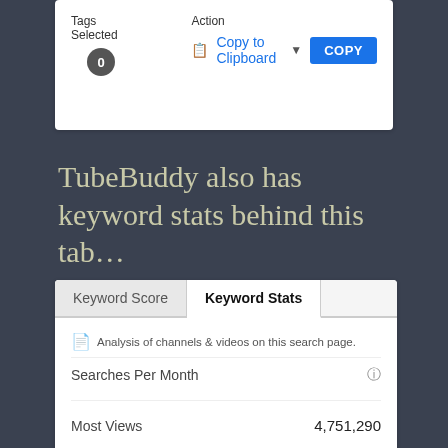[Figure (screenshot): TubeBuddy browser extension UI showing Tags Selected (0) and Action: Copy to Clipboard dropdown with COPY button]
TubeBuddy also has keyword stats behind this tab…
[Figure (screenshot): TubeBuddy Keyword Stats panel showing: Searches Per Month (with question icon), Most Views 4,751,290, Least Views 1,993, Most Subscribers 1,013,254, Least Subscribers 6,282, Keyword in Titles 14/20 (partial)]
| Metric | Value |
| --- | --- |
| Searches Per Month |  |
| Most Views | 4,751,290 |
| Least Views | 1,993 |
| Most Subscribers | 1,013,254 |
| Least Subscribers | 6,282 |
| Keyword in Titles | 14/20 |